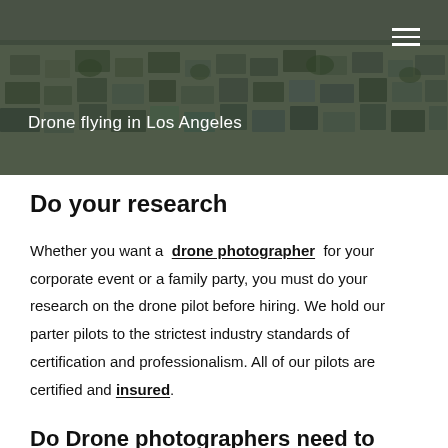[Figure (photo): Aerial photograph of Los Angeles cityscape with dense urban housing on hillside, dark moody tones]
Drone flying in Los Angeles
Do your research
Whether you want a drone photographer for your corporate event or a family party, you must do your research on the drone pilot before hiring. We hold our parter pilots to the strictest industry standards of certification and professionalism. All of our pilots are certified and insured.
Do Drone photographers need to be Certificated with the FAA?
You'd like to know that...